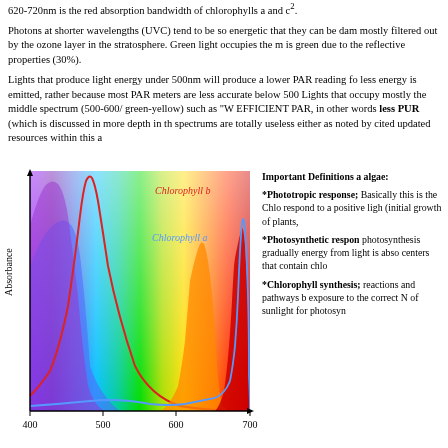620-720nm is the red absorption bandwidth of chlorophylls a and c².
Photons at shorter wavelengths (UVC) tend to be so energetic that they can be damaging and are mostly filtered out by the ozone layer in the stratosphere. Green light occupies the middle and is green due to the reflective properties (30%).
Lights that produce light energy under 500nm will produce a lower PAR reading for not because less energy is emitted, rather because most PAR meters are less accurate below 500nm. Lights that occupy mostly the middle spectrum (500-600/ green-yellow) such as "W" EFFICIENT PAR, in other words less PUR (which is discussed in more depth in the spectrums are totally useless either as noted by cited updated resources within this a
[Figure (continuous-plot): Absorption spectrum chart showing Absorbance vs wavelength (400-700nm). Two curves labeled: Chlorophyll b (red curve, peak ~470nm) and Chlorophyll a (blue curve, peak ~665nm). The background is a rainbow gradient from violet/blue at 400nm through green at 550nm to red at 700nm. Additional orange/yellow peak visible around 580-620nm. Y-axis labeled 'Absorbance', X-axis shows values 400, 500, 600, 700.]
Important Definitions and notes about algae:
*Phototropic response; Basically this is the Chloroplasts respond to a positive light stimulus (initial growth of plants,
*Photosynthetic response; photosynthesis gradually as more energy from light is absorbed by centers that contain chlor
*Chlorophyll synthesis; reactions and pathways b exposure to the correct N of sunlight for photosyn